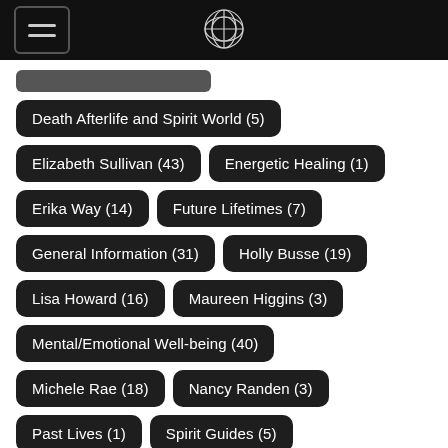navigation header with hamburger menu and logo
Death Afterlife and Spirit World (5)
Elizabeth Sullivan (43)
Energetic Healing (1)
Erika Way (14)
Future Lifetimes (7)
General Information (31)
Holly Busse (19)
Lisa Howard (16)
Maureen Higgins (3)
Mental/Emotional Well-being (40)
Michele Rae (18)
Nancy Randen (3)
Past Lives (1)
Spirit Guides (5)
Terri Peterson (20)
Wealthy Phonseya (1)